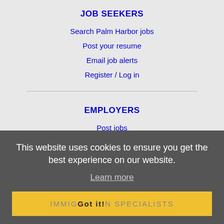JOB SEEKERS
Search Palm Harbor jobs
Post your resume
Email job alerts
Register / Log in
EMPLOYERS
Post jobs
Search resumes
Email resume alerts
Advertise
IMMIGRATION SPECIALISTS
Post jobs
Immigration FAQs
This website uses cookies to ensure you get the best experience on our website.
Learn more
IMMIGRATION SPECIALISTS  Got it!